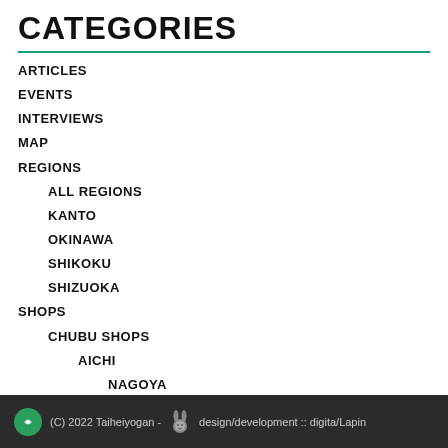CATEGORIES
ARTICLES
EVENTS
INTERVIEWS
MAP
REGIONS
ALL REGIONS
KANTO
OKINAWA
SHIKOKU
SHIZUOKA
SHOPS
CHUBU SHOPS
AICHI
NAGOYA
NAGOYA SUBURBAN
GIFU
MIE
(C) 2022 Taiheiyogan - design/development :: digita/Lapin